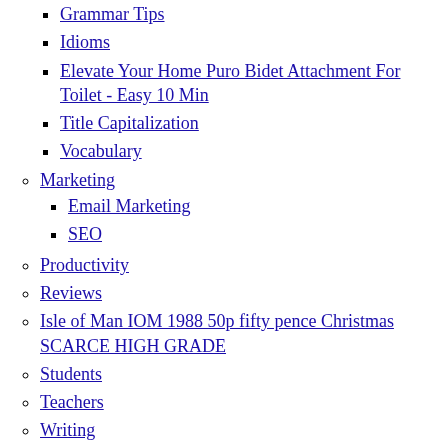Grammar Tips
Idioms
Elevate Your Home Puro Bidet Attachment For Toilet - Easy 10 Min
Title Capitalization
Vocabulary
Marketing
Email Marketing
SEO
Productivity
Reviews
Isle of Man IOM 1988 50p fifty pence Christmas SCARCE HIGH GRADE
Students
Teachers
Writing
Contact
Contact Us
Disney Minnie Mouse 4 Piece Toddler Bedding Set
Nintendo Mens Socks Crew New Controllers 10-13 Fits Shoe 6.5-12
Nepal 5 values partial set mint o.g. hinged
Game: Pokémon Case 25th details. for Set: Promo Card June Show: Pokémon - 4 Convention Cards: 5 undamaged Trainer Year Features: FTR apply Factory not Anniversary Elite Character: Box